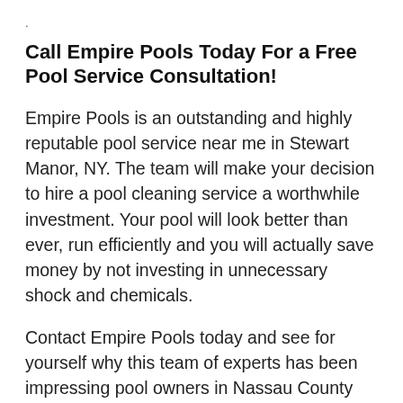.
Call Empire Pools Today For a Free Pool Service Consultation!
Empire Pools is an outstanding and highly reputable pool service near me in Stewart Manor, NY. The team will make your decision to hire a pool cleaning service a worthwhile investment. Your pool will look better than ever, run efficiently and you will actually save money by not investing in unnecessary shock and chemicals.
Contact Empire Pools today and see for yourself why this team of experts has been impressing pool owners in Nassau County for